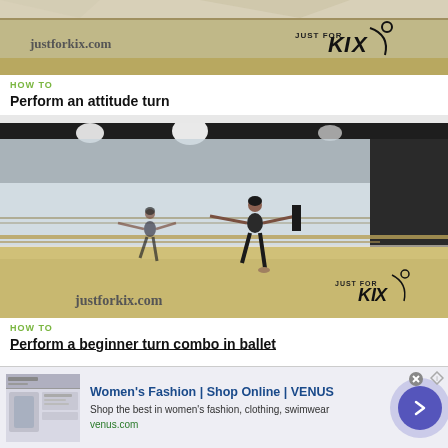[Figure (photo): Dance studio with wooden floor showing 'justforkix.com' text and JUST FOR KIX logo]
HOW TO
Perform an attitude turn
[Figure (photo): Dancer in ballet studio with mirror reflection, showing justforkix.com and JUST FOR KIX logo]
HOW TO
Perform a beginner turn combo in ballet
[Figure (other): Advertisement: Women's Fashion | Shop Online | VENUS. Shop the best in women's fashion, clothing, swimwear. venus.com]